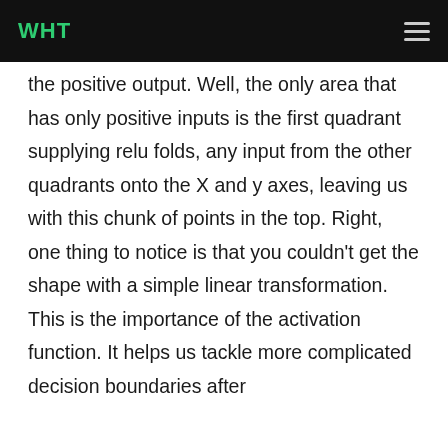WHT
the positive output. Well, the only area that has only positive inputs is the first quadrant supplying relu folds, any input from the other quadrants onto the X and y axes, leaving us with this chunk of points in the top. Right, one thing to notice is that you couldn't get the shape with a simple linear transformation. This is the importance of the activation function. It helps us tackle more complicated decision boundaries after